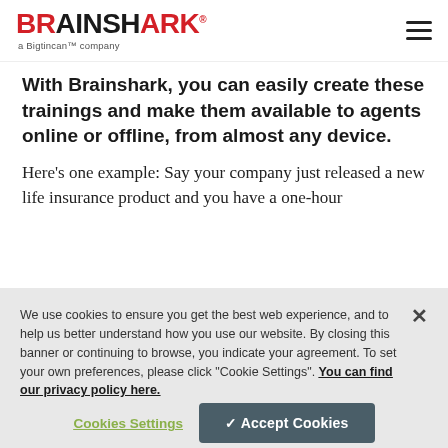BRAINSHARK a Bigtincan™ company
With Brainshark, you can easily create these trainings and make them available to agents online or offline, from almost any device.
Here's one example: Say your company just released a new life insurance product and you have a one-hour
We use cookies to ensure you get the best web experience, and to help us better understand how you use our website. By closing this banner or continuing to browse, you indicate your agreement. To set your own preferences, please click "Cookie Settings". You can find our privacy policy here.
Cookies Settings | ✓ Accept Cookies